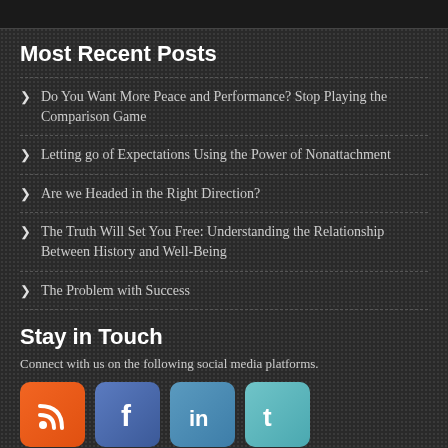[Figure (screenshot): Top image strip with social sharing buttons partially visible]
Most Recent Posts
Do You Want More Peace and Performance? Stop Playing the Comparison Game
Letting go of Expectations Using the Power of Nonattachment
Are we Headed in the Right Direction?
The Truth Will Set You Free: Understanding the Relationship Between History and Well-Being
The Problem with Success
Stay in Touch
Connect with us on the following social media platforms.
[Figure (illustration): Four social media icons: RSS (orange), Facebook (blue), LinkedIn (blue), Twitter (teal)]